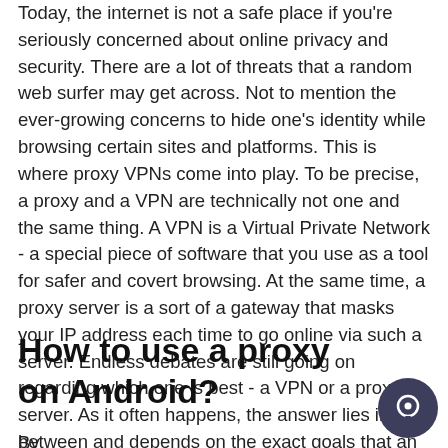Today, the internet is not a safe place if you're seriously concerned about online privacy and security. There are a lot of threats that a random web surfer may get across. Not to mention the ever-growing concerns to hide one's identity while browsing certain sites and platforms. This is where proxy VPNs come into play. To be precise, a proxy and a VPN are technically not one and the same thing. A VPN is a Virtual Private Network - a special piece of software that you use as a tool for safer and covert browsing. At the same time, a proxy server is a sort of a gateway that masks your IP address each time to go online via such a server. Endless debates are still going on regarding which one is best - a VPN or a proxy server. As it often happens, the answer lies in between and depends on the exact goals that an internet user pursues. demonoid proxy
How to use a proxy on Android?
By choosing...